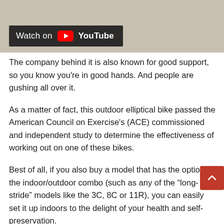[Figure (screenshot): YouTube video thumbnail with 'Watch on YouTube' badge overlay on a beige/tan background]
The company behind it is also known for good support, so you know you're in good hands. And people are gushing all over it.
As a matter of fact, this outdoor elliptical bike passed the American Council on Exercise's (ACE) commissioned and independent study to determine the effectiveness of working out on one of these bikes.
Best of all, if you also buy a model that has the option for the indoor/outdoor combo (such as any of the “long-stride” models like the 3C, 8C or 11R), you can easily set it up indoors to the delight of your health and self-preservation.
Find out more on Amazon »
Something about this?